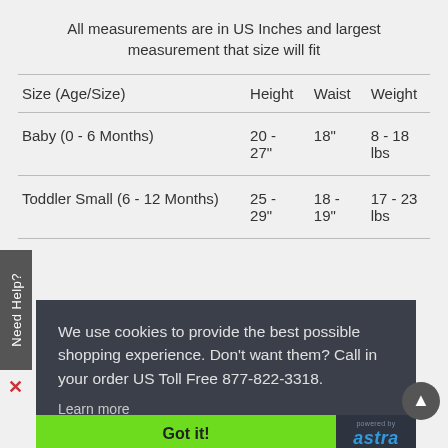All measurements are in US Inches and largest measurement that size will fit
| Size (Age/Size) | Height | Waist | Weight |
| --- | --- | --- | --- |
| Baby (0 - 6 Months) | 20 - 27" | 18" | 8 - 18 lbs |
| Toddler Small (6 - 12 Months) | 25 - 29" | 18 - 19" | 17 - 23 lbs |
We use cookies to provide the best possible shopping experience. Don't want them? Call in your order US Toll Free 877-822-3318.
Learn more
Got it!